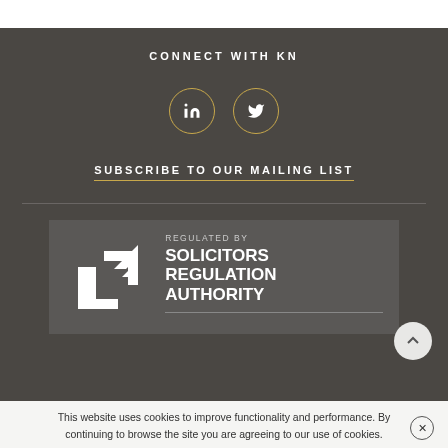CONNECT WITH KN
[Figure (illustration): LinkedIn and Twitter social media icons in gold-outlined circles]
SUBSCRIBE TO OUR MAILING LIST
[Figure (logo): Solicitors Regulation Authority logo with text: REGULATED BY SOLICITORS REGULATION AUTHORITY]
This website uses cookies to improve functionality and performance. By continuing to browse the site you are agreeing to our use of cookies.